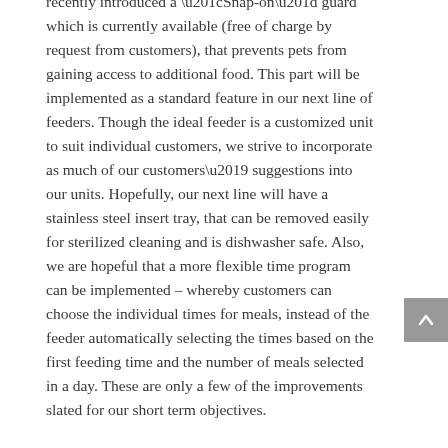recently introduced a “Snap-on” guard which is currently available (free of charge by request from customers), that prevents pets from gaining access to additional food. This part will be implemented as a standard feature in our next line of feeders. Though the ideal feeder is a customized unit to suit individual customers, we strive to incorporate as much of our customers’ suggestions into our units. Hopefully, our next line will have a stainless steel insert tray, that can be removed easily for sterilized cleaning and is dishwasher safe. Also, we are hopeful that a more flexible time program can be implemented – whereby customers can choose the individual times for meals, instead of the feeder automatically selecting the times based on the first feeding time and the number of meals selected in a day. These are only a few of the improvements slated for our short term objectives.

We are aware that pet medications are integral in